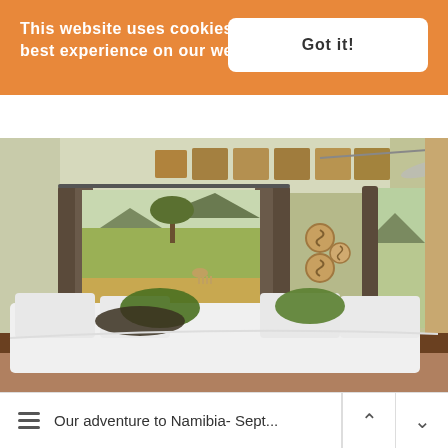This website uses cookies to ensure you get the best experience on our website. Learn more
[Figure (photo): Interior of a safari lodge bedroom with white bedding, green accent pillows, dark curtains, wildlife photos on the wall, a ceiling fan, and large windows overlooking a savanna landscape with trees and mountains]
Our adventure to Namibia- Sept...